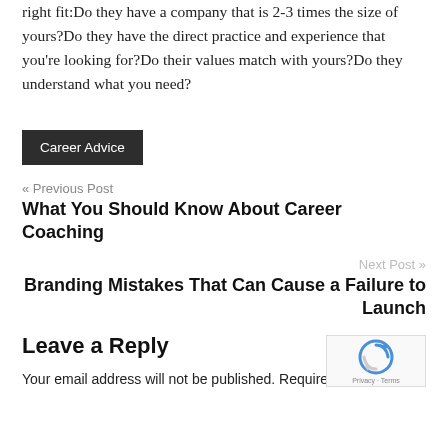right fit:Do they have a company that is 2-3 times the size of yours?Do they have the direct practice and experience that you're looking for?Do their values match with yours?Do they understand what you need?
Career Advice
« Previous Post
What You Should Know About Career Coaching
Next Post »
Branding Mistakes That Can Cause a Failure to Launch
Leave a Reply
Your email address will not be published. Required